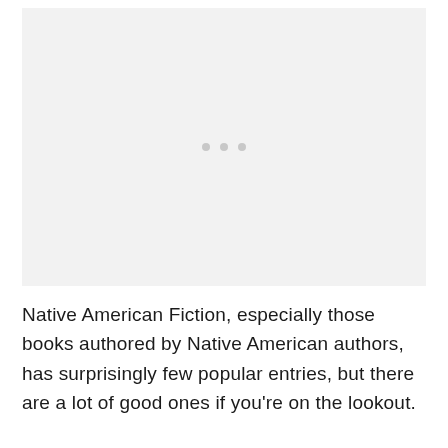[Figure (other): A light gray placeholder image area with three small gray dots centered in the upper half of the page.]
Native American Fiction, especially those books authored by Native American authors, has surprisingly few popular entries, but there are a lot of good ones if you’re on the lookout.